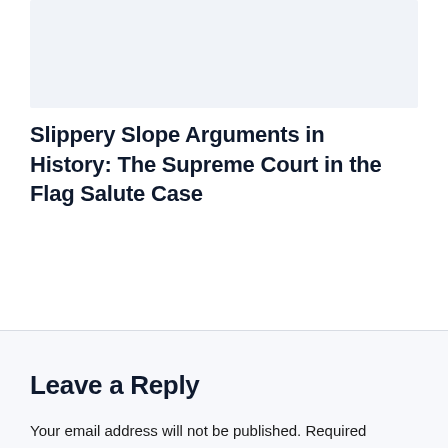[Figure (other): Light blue-grey rectangular image placeholder area at the top of the page]
Slippery Slope Arguments in History: The Supreme Court in the Flag Salute Case
Leave a Reply
Your email address will not be published. Required